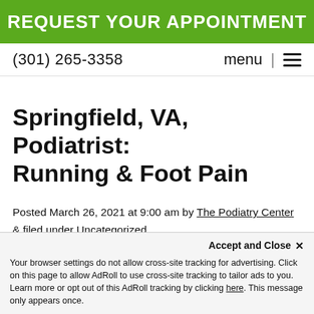REQUEST YOUR APPOINTMENT
(301) 265-3358  menu
Springfield, VA, Podiatrist: Running & Foot Pain
Posted March 26, 2021 at 9:00 am by The Podiatry Center & filed under Uncategorized
[Figure (photo): Image placeholder labeled 'springfield va podiatrist' with text 'Running' visible to the right]
Accept and Close ✕
Your browser settings do not allow cross-site tracking for advertising. Click on this page to allow AdRoll to use cross-site tracking to tailor ads to you. Learn more or opt out of this AdRoll tracking by clicking here. This message only appears once.